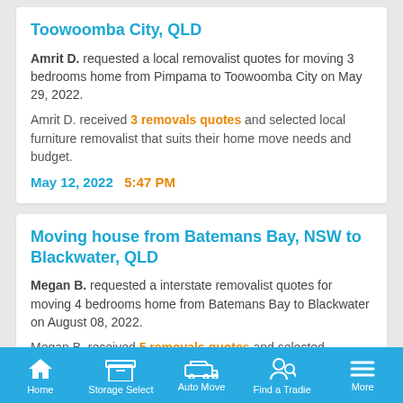Toowoomba City, QLD
Amrit D. requested a local removalist quotes for moving 3 bedrooms home from Pimpama to Toowoomba City on May 29, 2022.
Amrit D. received 3 removals quotes and selected local furniture removalist that suits their home move needs and budget.
May 12, 2022   5:47 PM
Moving house from Batemans Bay, NSW to Blackwater, QLD
Megan B. requested a interstate removalist quotes for moving 4 bedrooms home from Batemans Bay to Blackwater on August 08, 2022.
Megan B. received 5 removals quotes and selected interstate furniture removalist that suits their home move
Home  Storage Select  Auto Move  Find a Tradie  More